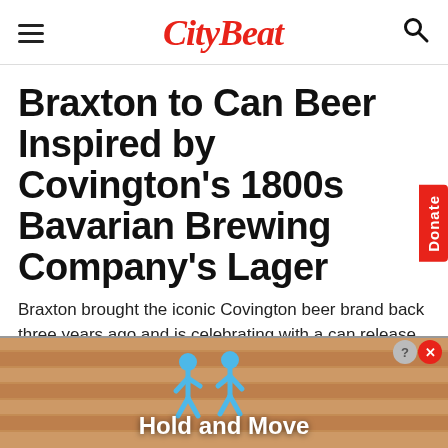CityBeat
Braxton to Can Beer Inspired by Covington's 1800s Bavarian Brewing Company's Lager
Braxton brought the iconic Covington beer brand back three years ago and is celebrating with a can release of their Bavarian Style Select Lager
[Figure (infographic): Advertisement banner at bottom showing a wooden lane/bowling alley background with two blue stick-figure characters and the text 'Hold and Move' in white bold text. Has close (X) and help (?) buttons in upper right.]